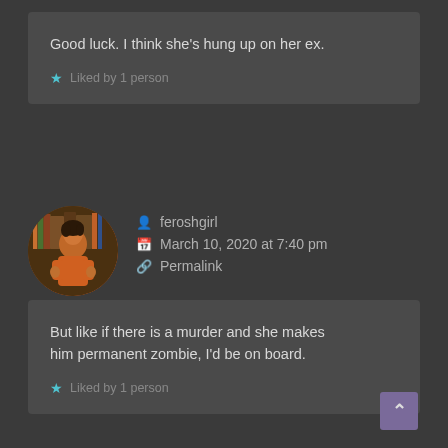Good luck. I think she's hung up on her ex.
Liked by 1 person
feroshgirl
March 10, 2020 at 7:40 pm
Permalink
But like if there is a murder and she makes him permanent zombie, I'd be on board.
Liked by 1 person